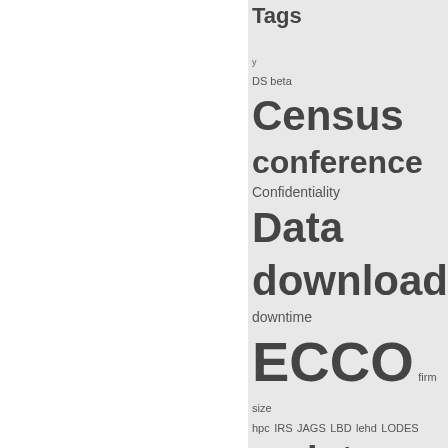[Figure (other): Tag cloud showing various tags including Census, ECCO, maintenance, Social Science Gateway, Synthetic Data Server, qwipu, SDS, and many others in varying font sizes indicating relative frequency.]